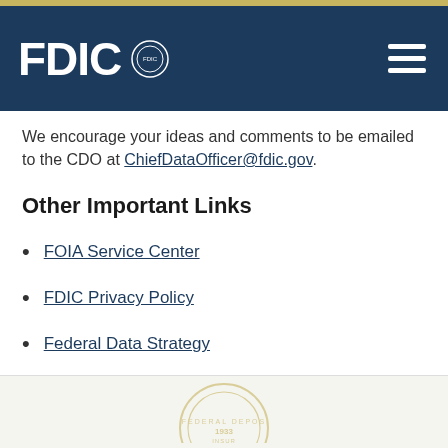FDIC
We encourage your ideas and comments to be emailed to the CDO at ChiefDataOfficer@fdic.gov.
Other Important Links
FOIA Service Center
FDIC Privacy Policy
Federal Data Strategy
Federal Data Catalog
[Figure (logo): FDIC Federal Deposit Insurance Corporation seal, circular gold/tan seal with '1933' in center]